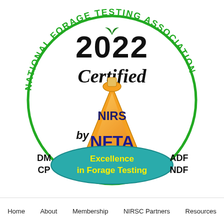[Figure (logo): 2022 Certified NIRS by NFTA logo. A large circular badge with green text 'NATIONAL FORAGE TESTING ASSOCIATION' around the outer ring. Inside: bold black '2022' at top, bold black italic 'Certified' below it. A gold/orange triangular flask shape in the center contains dark blue bold text 'NIRS' and 'NFTA'. A teal oval at the bottom displays yellow text 'Excellence in Forage Testing'. Outside the oval on the left: 'DM' and 'CP' in black. On the right: 'ADF' and 'NDF' in black.]
Home    About    Membership    NIRSC Partners    Resources